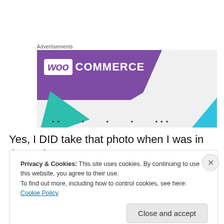Advertisements
[Figure (logo): WooCommerce advertisement banner with purple background, WooCommerce logo, teal and blue triangular accent shapes, and navigation dots at bottom]
Yes, I DID take that photo when I was in the park. But I
Privacy & Cookies: This site uses cookies. By continuing to use this website, you agree to their use.
To find out more, including how to control cookies, see here: Cookie Policy